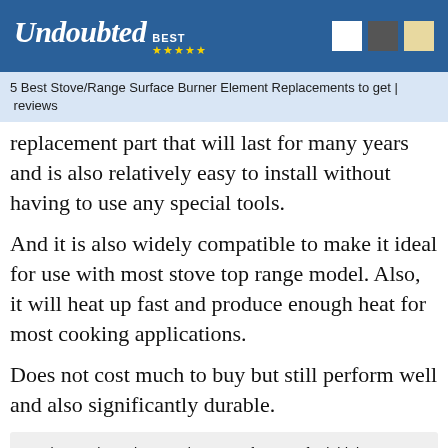Undoubted BEST ★★★★★
5 Best Stove/Range Surface Burner Element Replacements to get | reviews
replacement part that will last for many years and is also relatively easy to install without having to use any special tools.
And it is also widely compatible to make it ideal for use with most stove top range model. Also, it will heat up fast and produce enough heat for most cooking applications.
Does not cost much to buy but still perform well and also significantly durable.
You know what's the most important feature of Frigidaire 316439801 Smart Choice 6-inch 4-Turn Surface Element? One customer wrote details about this on Amazon. If this is what you're looking, Check current price and Buy Now on